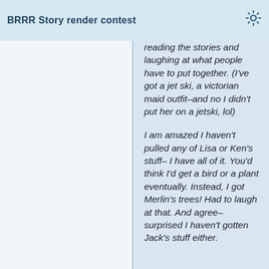BRRR Story render contest
reading the stories and laughing at what people have to put together. (I've got a jet ski, a victorian maid outfit–and no I didn't put her on a jetski, lol)

I am amazed I haven't pulled any of Lisa or Ken's stuff– I have all of it. You'd think I'd get a bird or a plant eventually. Instead, I got Merlin's trees! Had to laugh at that. And agree– surprised I haven't gotten Jack's stuff either.